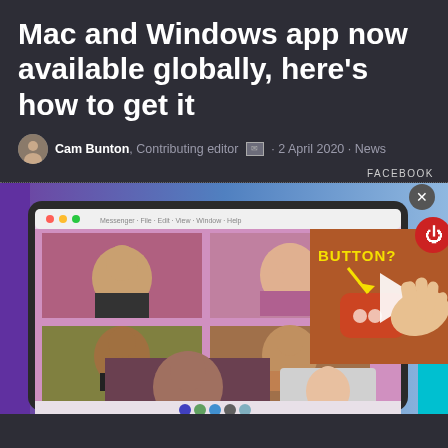Mac and Windows app now available globally, here's how to get it
Cam Bunton, Contributing editor · 2 April 2020 · News
FACEBOOK
[Figure (screenshot): Screenshot of a Facebook Messenger video call app on Mac showing a group video chat with multiple participants, overlaid with a video thumbnail showing a hand pressing a button with 'BUTTON?' text and an arrow, plus a close button and power button overlay.]